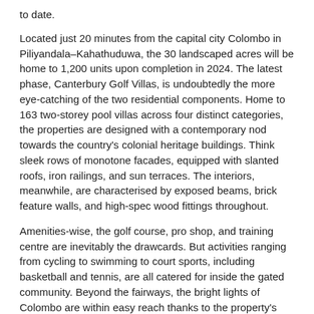to date.
Located just 20 minutes from the capital city Colombo in Piliyandala–Kahathuduwa, the 30 landscaped acres will be home to 1,200 units upon completion in 2024. The latest phase, Canterbury Golf Villas, is undoubtedly the more eye-catching of the two residential components. Home to 163 two-storey pool villas across four distinct categories, the properties are designed with a contemporary nod towards the country's colonial heritage buildings. Think sleek rows of monotone facades, equipped with slanted roofs, iron railings, and sun terraces. The interiors, meanwhile, are characterised by exposed beams, brick feature walls, and high-spec wood fittings throughout.
Amenities-wise, the golf course, pro shop, and training centre are inevitably the drawcards. But activities ranging from cycling to swimming to court sports, including basketball and tennis, are all catered for inside the gated community. Beyond the fairways, the bright lights of Colombo are within easy reach thanks to the property's proximity to the main expressway.
The original version of this article appeared in Issue No. 170 of PropertyGuru Property Report Magazine. Write to our editors at propertyreport@propertyguru.com.